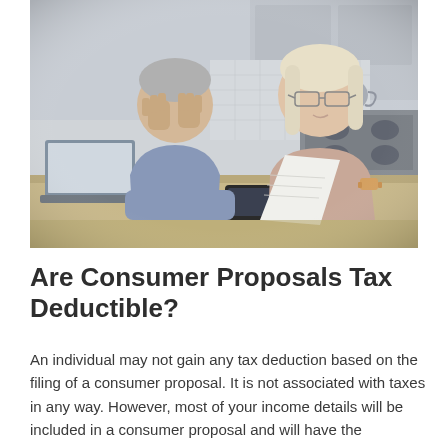[Figure (photo): An elderly couple sitting at a kitchen counter looking stressed at financial documents. The man on the left has his head in his hands showing distress, wearing a blue shirt. The woman on the right with white/blonde hair and glasses is reading a document, wearing a beige/taupe top and a watch. A white mug, laptop, and smartphone are visible on the counter. Kitchen with stove and kettle visible in background.]
Are Consumer Proposals Tax Deductible?
An individual may not gain any tax deduction based on the filing of a consumer proposal. It is not associated with taxes in any way. However, most of your income details will be included in a consumer proposal and will have the